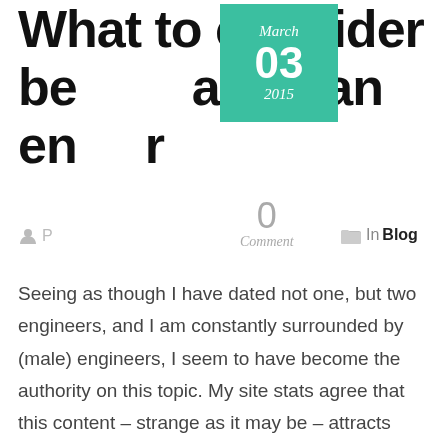What to consider before dating an engineer
[Figure (other): Green date badge showing March 03 2015]
0 Comment
P... (author)
In Blog
Seeing as though I have dated not one, but two engineers, and I am constantly surrounded by (male) engineers, I seem to have become the authority on this topic. My site stats agree that this content – strange as it may be – attracts substantial traffic. So here it is: why not to date an engineer part two.As much as I hate to generalise, and agree that there are surely many engineers out there who don't fit the